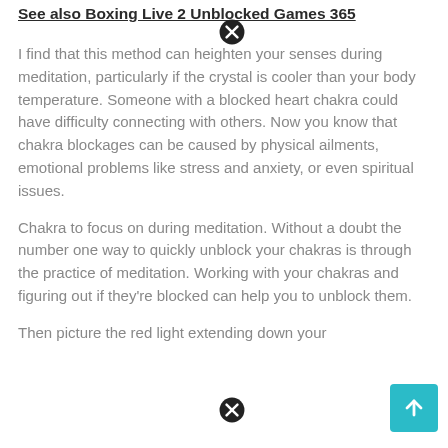See also Boxing Live 2 Unblocked Games 365
I find that this method can heighten your senses during meditation, particularly if the crystal is cooler than your body temperature. Someone with a blocked heart chakra could have difficulty connecting with others. Now you know that chakra blockages can be caused by physical ailments, emotional problems like stress and anxiety, or even spiritual issues.
Chakra to focus on during meditation. Without a doubt the number one way to quickly unblock your chakras is through the practice of meditation. Working with your chakras and figuring out if they're blocked can help you to unblock them.
Then picture the red light extending down your